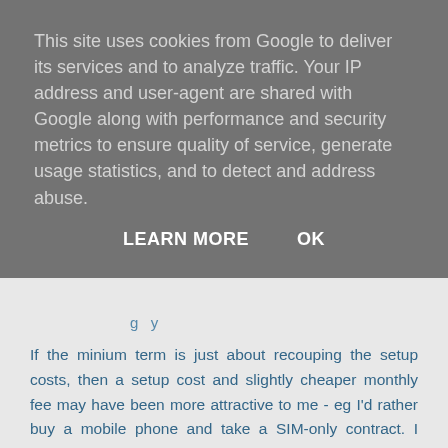This site uses cookies from Google to deliver its services and to analyze traffic. Your IP address and user-agent are shared with Google along with performance and security metrics to ensure quality of service, generate usage statistics, and to detect and address abuse.
LEARN MORE   OK
If the minium term is just about recouping the setup costs, then a setup cost and slightly cheaper monthly fee may have been more attractive to me - eg I'd rather buy a mobile phone and take a SIM-only contract. I realise that most other people prefer the phone cost to be part of their contract though.
Reply
Replies
Owen Smith  Thursday, 31 August 2017 at 23:21:00 BST
A Firebrick is not a consumer product the way you